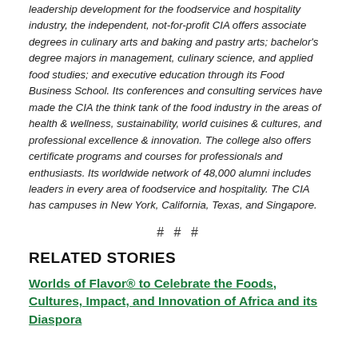leadership development for the foodservice and hospitality industry, the independent, not-for-profit CIA offers associate degrees in culinary arts and baking and pastry arts; bachelor's degree majors in management, culinary science, and applied food studies; and executive education through its Food Business School. Its conferences and consulting services have made the CIA the think tank of the food industry in the areas of health & wellness, sustainability, world cuisines & cultures, and professional excellence & innovation. The college also offers certificate programs and courses for professionals and enthusiasts. Its worldwide network of 48,000 alumni includes leaders in every area of foodservice and hospitality. The CIA has campuses in New York, California, Texas, and Singapore.
# # #
RELATED STORIES
Worlds of Flavor® to Celebrate the Foods, Cultures, Impact, and Innovation of Africa and its Diaspora